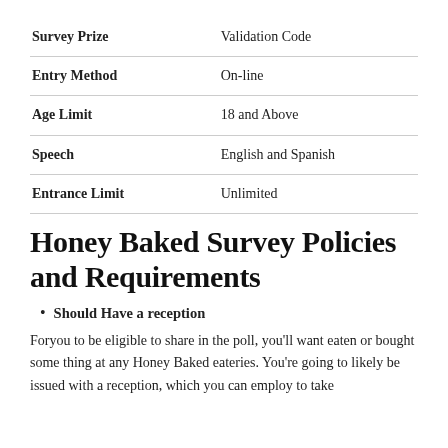| Survey Prize | Validation Code |
| --- | --- |
| Entry Method | On-line |
| Age Limit | 18 and Above |
| Speech | English and Spanish |
| Entrance Limit | Unlimited |
Honey Baked Survey Policies and Requirements
Should Have a reception
Foryou to be eligible to share in the poll, you'll want eaten or bought some thing at any Honey Baked eateries. You're going to likely be issued with a reception, which you can employ to take